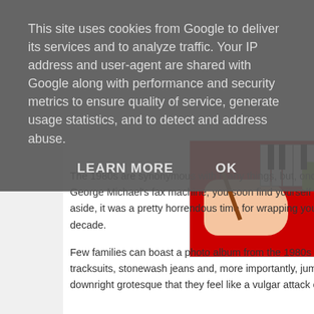This site uses cookies from Google to deliver its services and to analyze traffic. Your IP address and user-agent are shared with Google along with performance and security metrics to ensure quality of service, generate usage statistics, and to detect and address abuse.
LEARN MORE    OK
[Figure (photo): Partial photo showing a person in a red outfit holding what appears to be a pencil or stick near piano keyboard keys visible on the right edge]
The 1980s are synonymous with many things, but, once you... George Michael's fax machine, you soon find yourself exam... aside, it was a pretty horrendous time for wrapping yourself... decade.
Few families can boast a photo album from the 1980s which... tracksuits, stonewash jeans and, more importantly, jumpers... downright grotesque that they feel like a vulgar attack on ou...